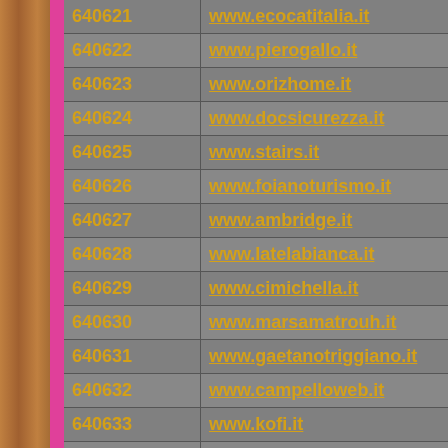| ID | URL |
| --- | --- |
| 640621 | www.ecocatitalia.it |
| 640622 | www.pierogallo.it |
| 640623 | www.orizhome.it |
| 640624 | www.docsicurezza.it |
| 640625 | www.stairs.it |
| 640626 | www.foianoturismo.it |
| 640627 | www.ambridge.it |
| 640628 | www.latelabianca.it |
| 640629 | www.cimichella.it |
| 640630 | www.marsamatrouh.it |
| 640631 | www.gaetanotriggiano.it |
| 640632 | www.campelloweb.it |
| 640633 | www.kofi.it |
| 640634 | www.allmodul.it |
| 640635 | www.hotellacoluccia.it |